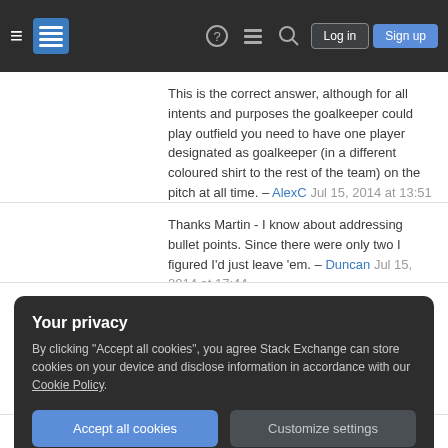Stack Exchange navigation header with hamburger menu, logo, help, chat, search icons, Log in and Sign up buttons
This is the correct answer, although for all intents and purposes the goalkeeper could play outfield you need to have one player designated as goalkeeper (in a different coloured shirt to the rest of the team) on the pitch at all time. – AlexC Jul 15, 2014 at 13:51
Thanks Martin - I know about addressing bullet points. Since there were only two I figured I'd just leave 'em. – Duncan Jul 15, 2014 at 17:44
+1 for references. NB: the more common scenario is not when GK is injured, but when he's sent off. – gdrt Apr 11, 2017 at 9:46
Your privacy
By clicking "Accept all cookies", you agree Stack Exchange can store cookies on your device and disclose information in accordance with our Cookie Policy.
Accept all cookies   Customize settings
the opposite box to score.